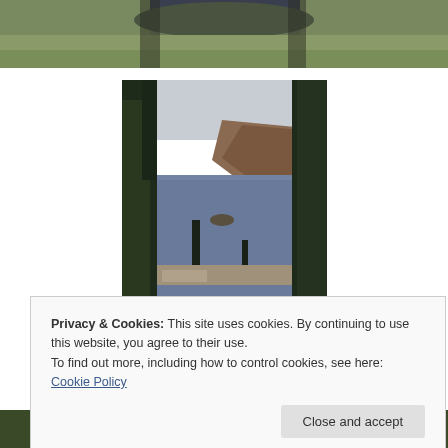[Figure (photo): Wide landscape photo strip showing grassy hillside terrain with rocky cliffs in background, partially cropped at top of page]
[Figure (photo): Tall vertical photograph of Crater Lake viewed through tall conifer trees, showing deep blue/purple lake water, rocky cliffs, and a small island, overcast sky]
Privacy & Cookies: This site uses cookies. By continuing to use this website, you agree to their use.
To find out more, including how to control cookies, see here: Cookie Policy
Close and accept
[Figure (photo): Bottom photo strip showing forest/trees, partially visible at page bottom]